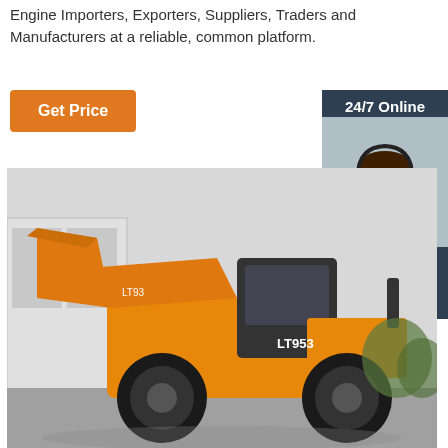Engine Importers, Exporters, Suppliers, Traders and Manufacturers at a reliable, common platform.
Get Price
24/7 Online
[Figure (photo): Customer service representative with headset smiling]
Click here for free chat !
QUOTATION
[Figure (photo): Large yellow wheel loader (LT953) parked in front of a warehouse/industrial building]